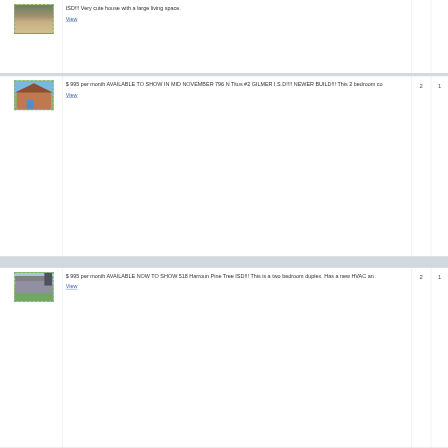[Figure (photo): House exterior photo top partial row]
ISD!!! Very cute house with a large living space.
View
[Figure (photo): House exterior photo - brick house with blue door]
$ 995 per month AVAILABLE TO SHOW IN MID NOVEMBER 796 N Titus #2 GILMER I.S.D!!!! NEWER BUILD!!! This 2 bedroom co
View
[Figure (photo): House exterior photo - ranch style with lawn]
$ 995 per month AVAILABLE NOW TO SHOW 518 Harroun Pine Tree ISD!!! This is a two bedroom duplex. Has a new HVAC an
View
[Figure (photo): House exterior photo partial bottom row]
$ 995 per month